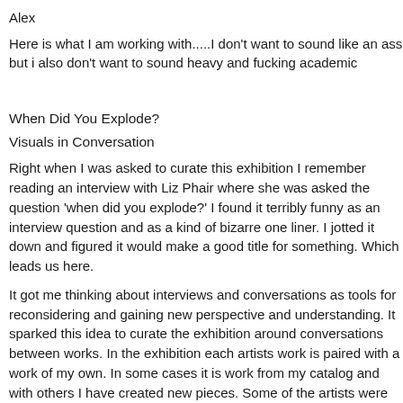Alex
Here is what I am working with.....I don't want to sound like an ass but i also don't want to sound heavy and fucking academic
When Did You Explode?
Visuals in Conversation
Right when I was asked to curate this exhibition I remember reading an interview with Liz Phair where she was asked the question 'when did you explode?' I found it terribly funny as an interview question and as a kind of bizarre one liner. I jotted it down and figured it would make a good title for something. Which leads us here.
It got me thinking about interviews and conversations as tools for reconsidering and gaining new perspective and understanding. It sparked this idea to curate the exhibition around conversations between works. In the exhibition each artists work is paired with a work of my own. In some cases it is work from my catalog and with others I have created new pieces. Some of the artists were new to me and others are those I have worked with or live with their pieces in my